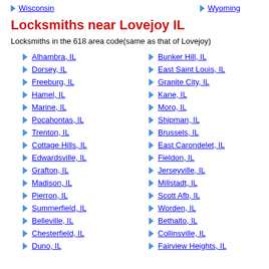Wisconsin
Wyoming
Locksmiths near Lovejoy IL
Locksmiths in the 618 area code(same as that of Lovejoy)
Alhambra, IL
Bunker Hill, IL
Dorsey, IL
East Saint Louis, IL
Freeburg, IL
Granite City, IL
Hamel, IL
Kane, IL
Marine, IL
Moro, IL
Pocahontas, IL
Shipman, IL
Trenton, IL
Brussels, IL
Cottage Hills, IL
East Carondelet, IL
Edwardsville, IL
Fieldon, IL
Grafton, IL
Jerseyville, IL
Madison, IL
Millstadt, IL
Pierron, IL
Scott Afb, IL
Summerfield, IL
Worden, IL
Belleville, IL
Bethalto, IL
Chesterfield, IL
Collinsville, IL
Duno, IL
Fairview Heights, IL